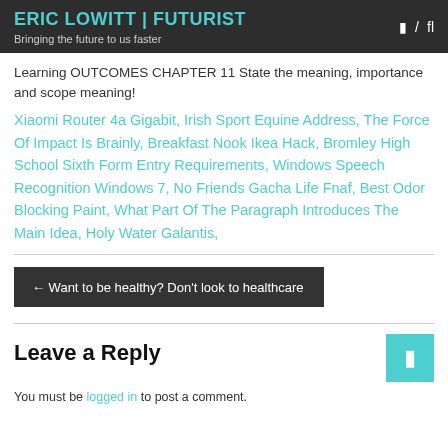ERIC LOWITT | FUTURIST
Bringing the future to us faster
Learning OUTCOMES CHAPTER 11 State the meaning, importance and scope meaning!
Xiaomi Router 4a Gigabit, Irish Sport Equine Address, The Force Of Impact Is Brainly, Breakfast Nook Ikea Hack, Bromley High School Sixth Form Entry Requirements, Windows Speech Recognition Windows 7, No Friends Gacha Life Fnaf, Best Odor Blocking Paint, What Part Of The Paragraph Introduces The Main Idea, Holy Water Galantis,
← Want to be healthy? Don't look to healthcare
Leave a Reply
You must be logged in to post a comment.